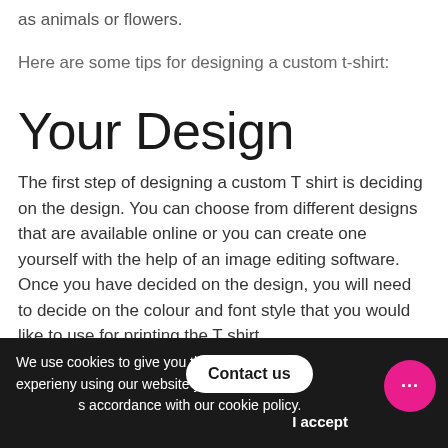as animals or flowers.
Here are some tips for designing a custom t-shirt:
Your Design
The first step of designing a custom T shirt is deciding on the design. You can choose from different designs that are available online or you can create one yourself with the help of an image editing software. Once you have decided on the design, you will need to decide on the colour and font style that you would like to use for printing the T shirt.
We use cookies to give you the best online experience. By using our website you agree to our use of cookies in accordance with our cookie policy.